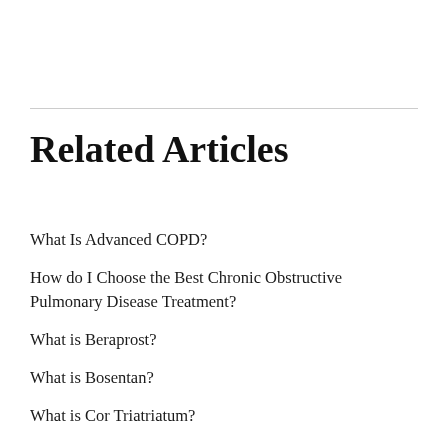Related Articles
What Is Advanced COPD?
How do I Choose the Best Chronic Obstructive Pulmonary Disease Treatment?
What is Beraprost?
What is Bosentan?
What is Cor Triatriatum?